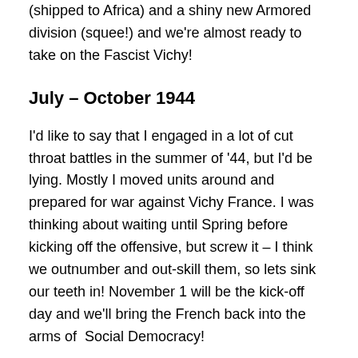(shipped to Africa) and a shiny new Armored division (squee!) and we're almost ready to take on the Fascist Vichy!
July – October 1944
I'd like to say that I engaged in a lot of cut throat battles in the summer of '44, but I'd be lying. Mostly I moved units around and prepared for war against Vichy France. I was thinking about waiting until Spring before kicking off the offensive, but screw it – I think we outnumber and out-skill them, so lets sink our teeth in! November 1 will be the kick-off day and we'll bring the French back into the arms of  Social Democracy!
Here's the situation:
Vichy France itself is relatively small, but Vichy France